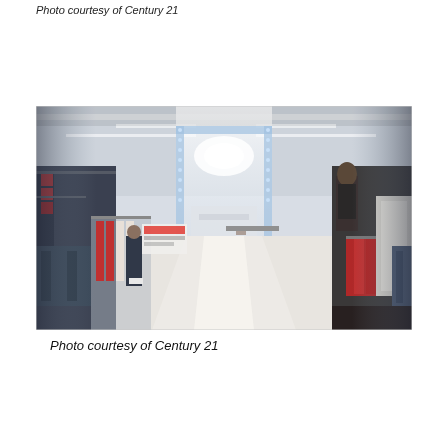Photo courtesy of Century 21
[Figure (photo): Interior of a Century 21 department store showing wide aisles with clothing racks on both sides, mannequins, shoppers, and bright overhead lighting. The store has a long perspective view toward the back with a decorative illuminated archway in the center.]
Photo courtesy of Century 21